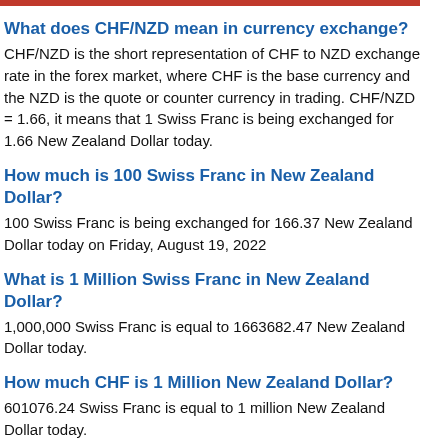What does CHF/NZD mean in currency exchange?
CHF/NZD is the short representation of CHF to NZD exchange rate in the forex market, where CHF is the base currency and the NZD is the quote or counter currency in trading. CHF/NZD = 1.66, it means that 1 Swiss Franc is being exchanged for 1.66 New Zealand Dollar today.
How much is 100 Swiss Franc in New Zealand Dollar?
100 Swiss Franc is being exchanged for 166.37 New Zealand Dollar today on Friday, August 19, 2022
What is 1 Million Swiss Franc in New Zealand Dollar?
1,000,000 Swiss Franc is equal to 1663682.47 New Zealand Dollar today.
How much CHF is 1 Million New Zealand Dollar?
601076.24 Swiss Franc is equal to 1 million New Zealand Dollar today.
What are the banknote denominations in CHF and